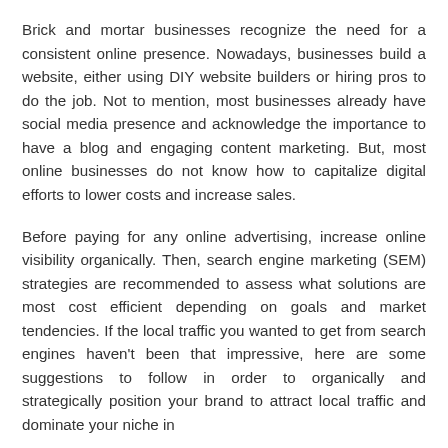Brick and mortar businesses recognize the need for a consistent online presence. Nowadays, businesses build a website, either using DIY website builders or hiring pros to do the job. Not to mention, most businesses already have social media presence and acknowledge the importance to have a blog and engaging content marketing. But, most online businesses do not know how to capitalize digital efforts to lower costs and increase sales.
Before paying for any online advertising, increase online visibility organically. Then, search engine marketing (SEM) strategies are recommended to assess what solutions are most cost efficient depending on goals and market tendencies. If the local traffic you wanted to get from search engines haven't been that impressive, here are some suggestions to follow in order to organically and strategically position your brand to attract local traffic and dominate your niche in